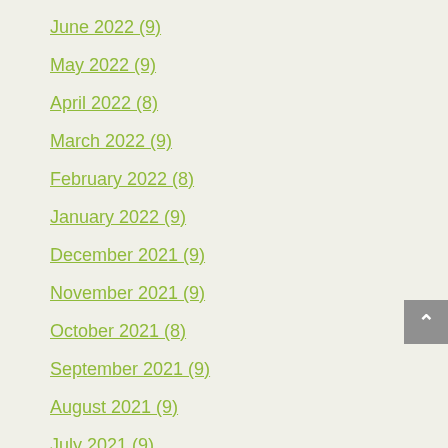June 2022 (9)
May 2022 (9)
April 2022 (8)
March 2022 (9)
February 2022 (8)
January 2022 (9)
December 2021 (9)
November 2021 (9)
October 2021 (8)
September 2021 (9)
August 2021 (9)
July 2021 (9)
June 2021 (8)